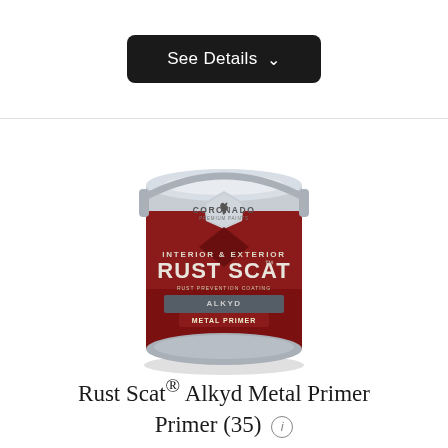See Details
[Figure (photo): Coronado Rust Scat Alkyd Metal Primer paint can, one gallon size. The can has a red and silver label reading INTERIOR & EXTERIOR RUST SCAT, with ALKYD METAL PRIMER below. The Coronado Premium Paints logo with horse emblem is at the top of the label.]
Rust Scat® Alkyd Metal Primer Primer (35)